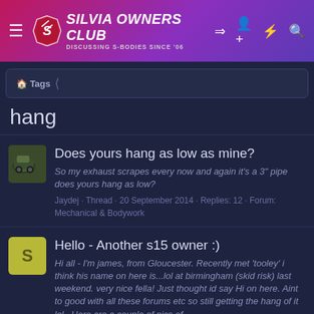SILVIA OWNERS CLUB — DISCUSSING S-BODIES SINCE '06
Tags — hang
Does yours hang as low as mine?
So my exhaust scrapes every now and again it's a 3" pipe does yours hang as low?
Jaydej · Thread · 20 September 2014 · Replies: 12 · Forum: Mechanical & Bodywork
Hello - Another s15 owner :)
Hi all - I'm james, from Gloucester. Recently met 'tooley' i think his name on here is...lol at birmingham (skid risk) last weekend. very nice fella! Just thought id say Hi on here. Aint to good with all these forums etc so still getting the hang of it lol.. Here are a couple of pics of...